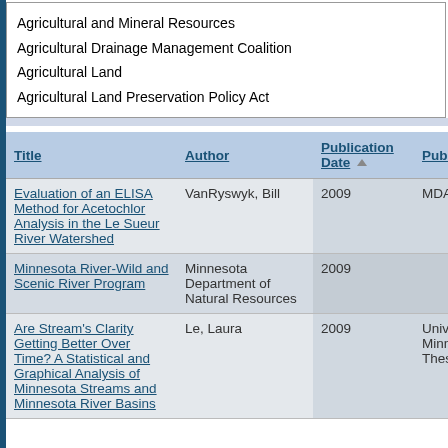Agricultural and Mineral Resources
Agricultural Drainage Management Coalition
Agricultural Land
Agricultural Land Preservation Policy Act
| Title | Author | Publication Date | Publisher | Loca |
| --- | --- | --- | --- | --- |
| Evaluation of an ELISA Method for Acetochlor Analysis in the Le Sueur River Watershed | VanRyswyk, Bill | 2009 | MDA | St. Pa MN |
| Minnesota River-Wild and Scenic River Program | Minnesota Department of Natural Resources | 2009 |  |  |
| Are Stream's Clarity Getting Better Over Time? A Statistical and Graphical Analysis of Minnesota Streams and Minnesota River Basins | Le, Laura | 2009 | University of Minnesota Thesis |  |